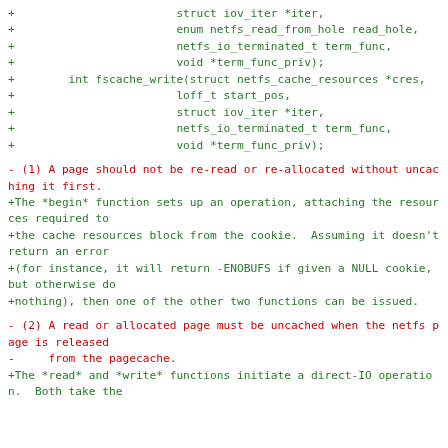+ struct iov_iter *iter,
+ enum netfs_read_from_hole read_hole,
+ netfs_io_terminated_t term_func,
+ void *term_func_priv);
+ int fscache_write(struct netfs_cache_resources *cres,
+ loff_t start_pos,
+ struct iov_iter *iter,
+ netfs_io_terminated_t term_func,
+ void *term_func_priv);
- (1) A page should not be re-read or re-allocated without uncaching it first.
+The *begin* function sets up an operation, attaching the resources required to
+the cache resources block from the cookie.  Assuming it doesn't return an error
+(for instance, it will return -ENOBUFS if given a NULL cookie, but otherwise do
+nothing), then one of the other two functions can be issued.
- (2) A read or allocated page must be uncached when the netfs page is released
-     from the pagecache.
+The *read* and *write* functions initiate a direct-IO operation.  Both take the